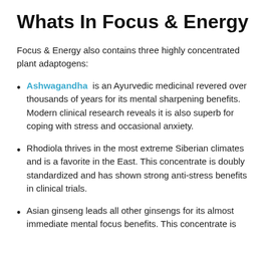Whats In Focus & Energy
Focus & Energy also contains three highly concentrated plant adaptogens:
Ashwagandha is an Ayurvedic medicinal revered over thousands of years for its mental sharpening benefits. Modern clinical research reveals it is also superb for coping with stress and occasional anxiety.
Rhodiola thrives in the most extreme Siberian climates and is a favorite in the East. This concentrate is doubly standardized and has shown strong anti-stress benefits in clinical trials.
Asian ginseng leads all other ginsengs for its almost immediate mental focus benefits. This concentrate is